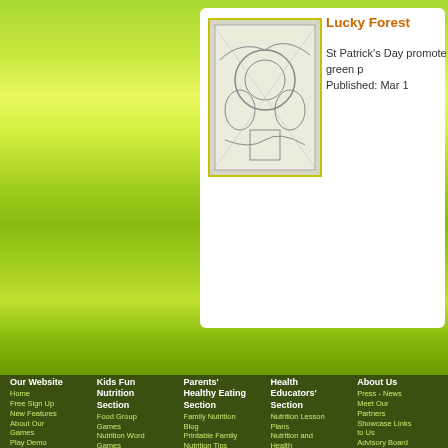[Figure (illustration): Green gradient background header area of a nutrition/education website]
Lucky Forest
St Patrick's Day promote green p Published: Mar 1
Our Website
Home
Free Sign Up
New Features
About Our Games
Play Demo Game
Link to Us
Advertising Policy
Visitors Comments
Sitemap
Contact Us
Kids Fun Nutrition Section
Food Group Games
Nutrition Word Games
Food Label Game
Healthy Kids Story Time
Fun Farm Games
Healthy Active Kids Games
Healthy Meal Games
Fun Preschool Games
Fun Arts and Crafts
Promoting Fun
Parents' Healthy Eating Section
Family Nutrition Blog
Printable Family Nutrition Tips
Daily Health Tip Calendar
Family Goals & Tracking Sheets
Nutrition Tools
Healthy Family Nutrition Articles
Family Resources
Healthy Recipes
Health Educators' Section
Nutrition Lesson Plans
Nutrition and Health Worksheets
My Plate Food Groups
Cooking with Kids
Fun Healthy Handouts
Print A Flyer
Teaching Nutrition - Games and Tools
Childhood Obesity Resources
About Us
Press - News
Meet Our Partners
Showcase Links to Us
Advisory Board
Sponsorship - Advertising
Privacy Policy
Terms and Conditions
Disclaimer
FAQ